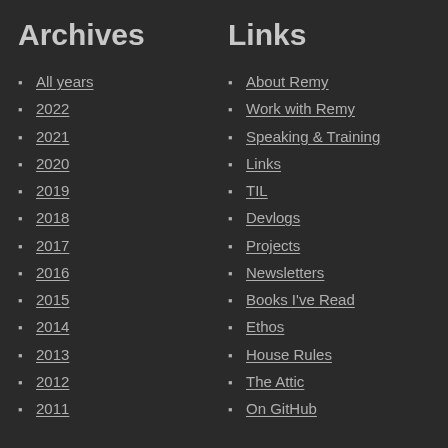Archives
All years
2022
2021
2020
2019
2018
2017
2016
2015
2014
2013
2012
2011
Links
About Remy
Work with Remy
Speaking & Training
Links
TIL
Devlogs
Projects
Newsletters
Books I've Read
Ethos
House Rules
The Attic
On GitHub